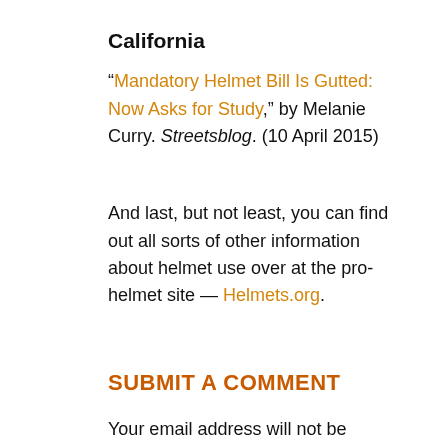California
“Mandatory Helmet Bill Is Gutted: Now Asks for Study,” by Melanie Curry. Streetsblog. (10 April 2015)
And last, but not least, you can find out all sorts of other information about helmet use over at the pro-helmet site — Helmets.org.
SUBMIT A COMMENT
Your email address will not be published.